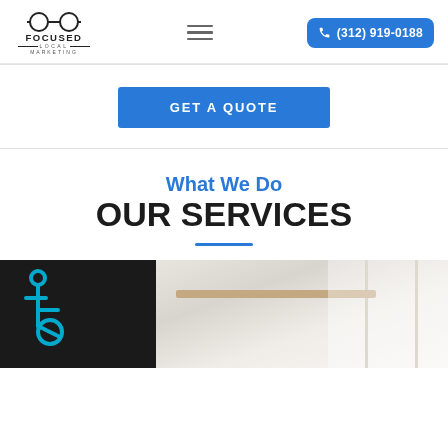Focused Local Marketing — (312) 919-0188
GET A QUOTE
What We Do
OUR SERVICES
[Figure (photo): Bottom section showing a room interior with a window and desk setup, alongside wheelchair accessibility icon on dark background]